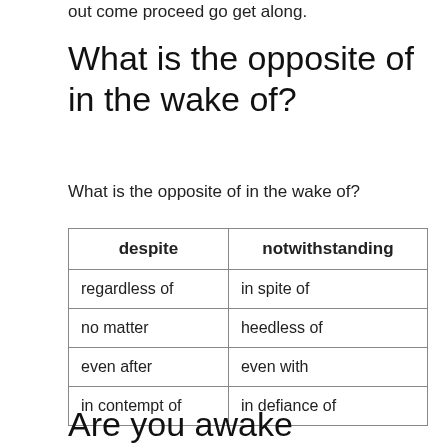out come proceed go get along.
What is the opposite of in the wake of?
What is the opposite of in the wake of?
| despite | notwithstanding |
| --- | --- |
| regardless of | in spite of |
| no matter | heedless of |
| even after | even with |
| in contempt of | in defiance of |
Are you awake synonyms?